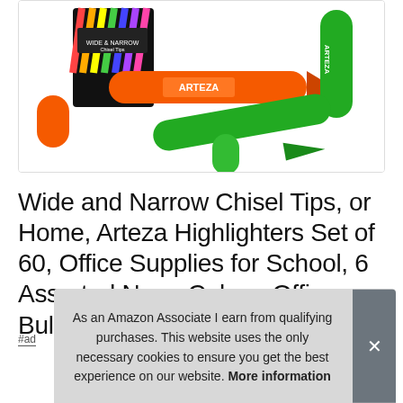[Figure (photo): Product photo of Arteza highlighters set — orange and green marker pens with chisel tips, a colorful striped package box visible in background, on white background.]
Wide and Narrow Chisel Tips, or Home, Arteza Highlighters Set of 60, Office Supplies for School, 6 Assorted Neon Colors, Office, Bulk Pack of Colored Markers
#ad
As an Amazon Associate I earn from qualifying purchases. This website uses the only necessary cookies to ensure you get the best experience on our website. More information